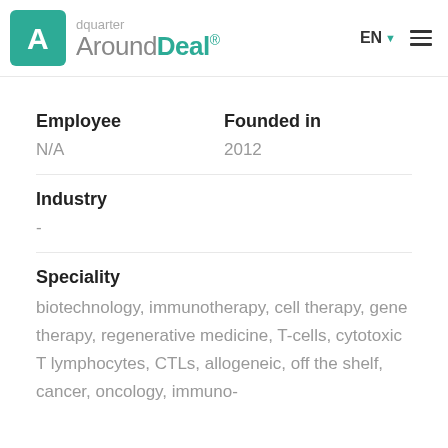AroundDeal® — EN — navigation menu
Employee
Founded in
N/A
2012
Industry
-
Speciality
biotechnology, immunotherapy, cell therapy, gene therapy, regenerative medicine, T-cells, cytotoxic T lymphocytes, CTLs, allogeneic, off the shelf, cancer, oncology, immuno-